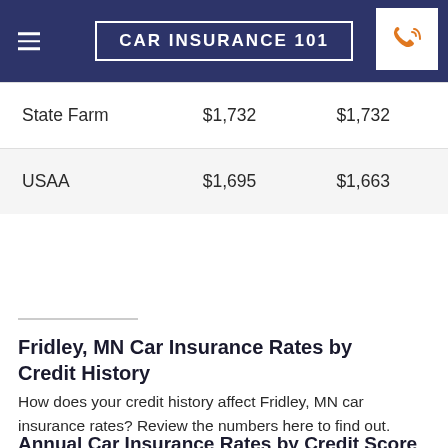CAR INSURANCE 101
| State Farm | $1,732 | $1,732 |
| USAA | $1,695 | $1,663 |
Fridley, MN Car Insurance Rates by Credit History
How does your credit history affect Fridley, MN car insurance rates? Review the numbers here to find out.
Annual Car Insurance Rates by Credit Score in